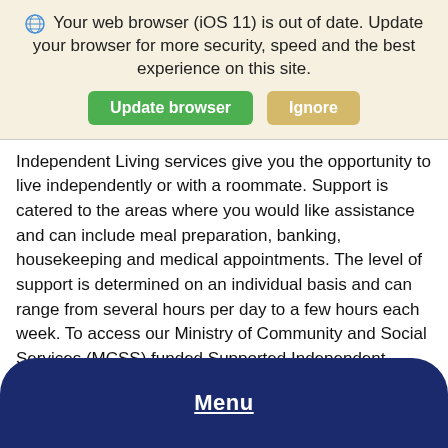[Figure (screenshot): Browser update warning banner with globe icon, text about iOS 11 browser being out of date, and two buttons: 'Update browser' (green) and 'Ignore' (tan/gold)]
Independent Living services give you the opportunity to live independently or with a roommate. Support is catered to the areas where you would like assistance and can include meal preparation, banking, housekeeping and medical appointments. The level of support is determined on an individual basis and can range from several hours per day to a few hours each week. To access our Ministry of Community and Social Services (MCSS) funded Supported Independent Living options, please contact your local Developmental Services Ontario (DSO) office. Visit their website to read more
Menu